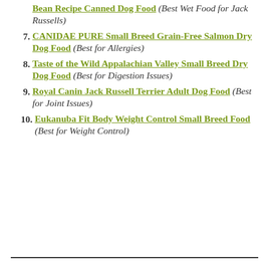Bean Recipe Canned Dog Food (Best Wet Food for Jack Russells)
7. CANIDAE PURE Small Breed Grain-Free Salmon Dry Dog Food (Best for Allergies)
8. Taste of the Wild Appalachian Valley Small Breed Dry Dog Food (Best for Digestion Issues)
9. Royal Canin Jack Russell Terrier Adult Dog Food (Best for Joint Issues)
10. Eukanuba Fit Body Weight Control Small Breed Food (Best for Weight Control)